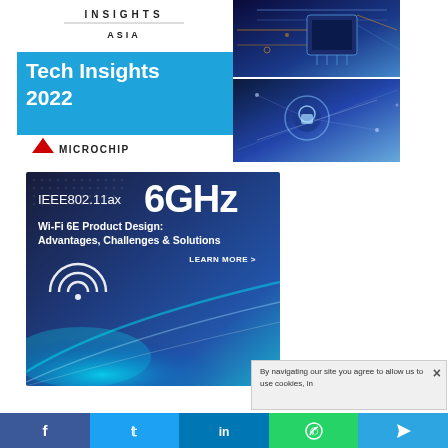[Figure (illustration): Tech Insights Asia 2022 advertisement by Microchip Technology featuring circuit board and cybersecurity imagery]
[Figure (illustration): IEEE802.11ax 6GHz Wi-Fi 6E Product Design advertisement - Advantages, Challenges & Solutions with Learn More button, wifi icon and light streak graphics]
By navigating our site you agree to allow us to use cookies, in
[Figure (infographic): Social media share bar with Facebook, Twitter, LinkedIn, WhatsApp, and Telegram buttons]